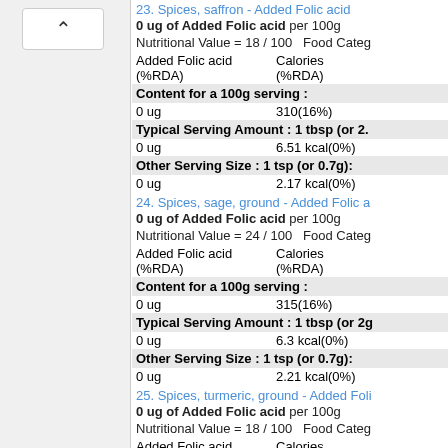23. Spices, saffron - Added Folic acid
0 ug of Added Folic acid per 100g
Nutritional Value = 18 / 100   Food Categ…
| Added Folic acid (%RDA) | Calories (%RDA) |
| --- | --- |
| Content for a 100g serving : |  |
| 0 ug | 310(16%) |
| Typical Serving Amount : 1 tbsp (or 2.… |  |
| 0 ug | 6.51 kcal(0%) |
| Other Serving Size : 1 tsp (or 0.7g): |  |
| 0 ug | 2.17 kcal(0%) |
24. Spices, sage, ground - Added Folic a…
0 ug of Added Folic acid per 100g
Nutritional Value = 24 / 100   Food Categ…
| Added Folic acid (%RDA) | Calories (%RDA) |
| --- | --- |
| Content for a 100g serving : |  |
| 0 ug | 315(16%) |
| Typical Serving Amount : 1 tbsp (or 2g… |  |
| 0 ug | 6.3 kcal(0%) |
| Other Serving Size : 1 tsp (or 0.7g): |  |
| 0 ug | 2.21 kcal(0%) |
25. Spices, turmeric, ground - Added Foli…
0 ug of Added Folic acid per 100g
Nutritional Value = 18 / 100   Food Categ…
| Added Folic acid (%RDA) | Calories (%RDA) |
| --- | --- |